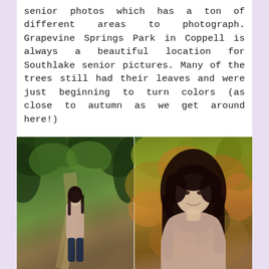senior photos which has a ton of different areas to photograph. Grapevine Springs Park in Coppell is always a beautiful location for Southlake senior pictures. Many of the trees still had their leaves and were just beginning to turn colors (as close to autumn as we get around here!)
[Figure (photo): Two side-by-side outdoor senior portrait photos of a young woman with long dark hair wearing a light pink/mauve sweater. Left photo: she stands on a wooded path lined with green trees forming a canopy. Right photo: close-up portrait of her smiling in front of colorful autumn foliage with leaves in orange, red, and green.]